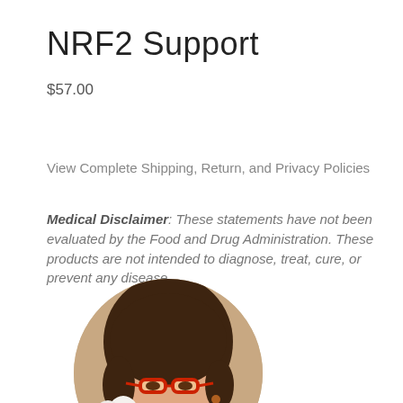NRF2 Support
$57.00
View Complete Shipping, Return, and Privacy Policies
Medical Disclaimer: These statements have not been evaluated by the Food and Drug Administration. These products are not intended to diagnose, treat, cure, or prevent any disease.
[Figure (photo): Circular portrait photo of a smiling woman with short brown hair, red glasses, and a white flower accessory, wearing a white jacket.]